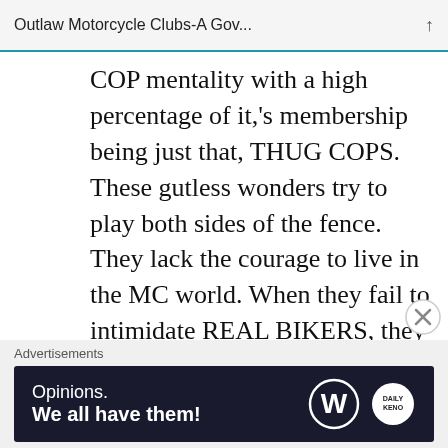Outlaw Motorcycle Clubs-A Gov...
COP mentality with a high percentage of it,'s membership being just that, THUG COPS. These gutless wonders try to play both sides of the fence. They lack the courage to live in the MC world. When they fail to intimidate REAL BIKERS, they resort to the use of a handgun. Then hide behind their BLUE PRIVILEGE. The COC of every state should make open war on the Iron Order. Now if that offends you, I
Advertisements
[Figure (screenshot): WordPress advertisement banner reading 'Opinions. We all have them!' with WordPress and other logos on dark navy background]